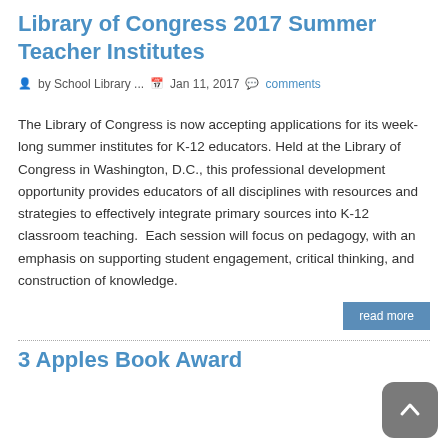Library of Congress 2017 Summer Teacher Institutes
by School Library ...   Jan 11, 2017   comments
The Library of Congress is now accepting applications for its week-long summer institutes for K-12 educators. Held at the Library of Congress in Washington, D.C., this professional development opportunity provides educators of all disciplines with resources and strategies to effectively integrate primary sources into K-12 classroom teaching.  Each session will focus on pedagogy, with an emphasis on supporting student engagement, critical thinking, and construction of knowledge.
read more
3 Apples Book Award